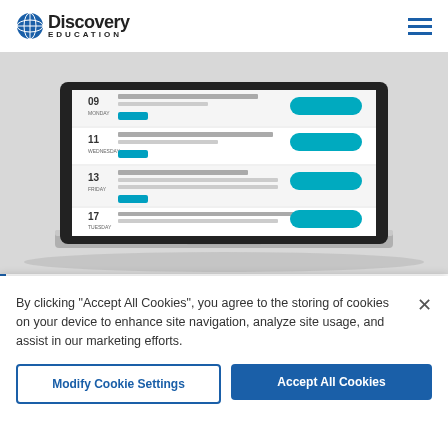Discovery Education
[Figure (screenshot): Laptop computer showing a Discovery Education events/calendar webpage with multiple dated entries and blue 'Register' buttons]
PRACTICAL TIPS
By clicking "Accept All Cookies", you agree to the storing of cookies on your device to enhance site navigation, analyze site usage, and assist in our marketing efforts.
Modify Cookie Settings
Accept All Cookies